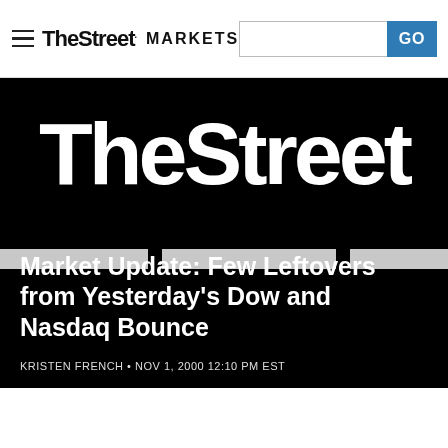TheStreet MARKETS
[Figure (logo): TheStreet large white logo on black background with three decorative gray horizontal bars]
Market Update: Few Leftovers from Yesterday's Dow and Nasdaq Bounce
KRISTEN FRENCH • NOV 1, 2000 12:10 PM EST